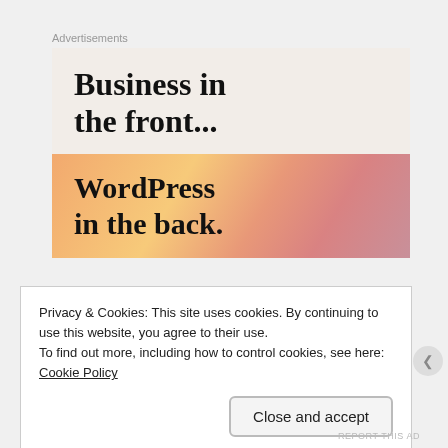Advertisements
[Figure (screenshot): WordPress advertisement banner: 'Business in the front... WordPress in the back.' The lower half has a colorful orange-to-pink gradient background.]
Privacy & Cookies: This site uses cookies. By continuing to use this website, you agree to their use.
To find out more, including how to control cookies, see here: Cookie Policy
Close and accept